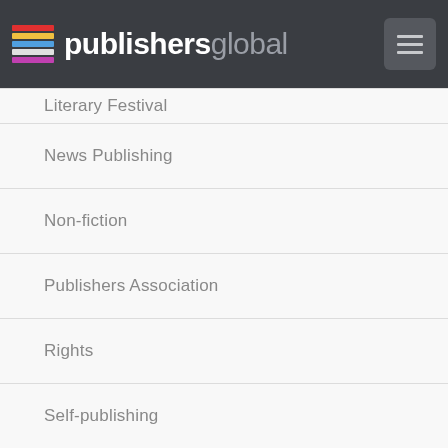publishersglobal
Literary Festival
News Publishing
Non-fiction
Publishers Association
Rights
Self-publishing
Spiritual Publishing
Young Adult Publishing
iBooks